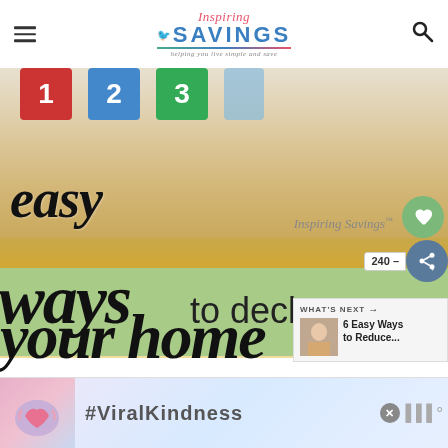Inspiring Savings — helping you live simple and save
[Figure (photo): Blog article hero image for 'Easy Ways to Declutter Your Home' on Inspiring Savings website, showing colorful number storage bins on a wooden floor with script and sans-serif typography overlaid on a green banner]
WHAT'S NEXT → 6 Easy Ways to Reduce...
[Figure (photo): Advertisement banner with #ViralKindness showing hands making heart shape]